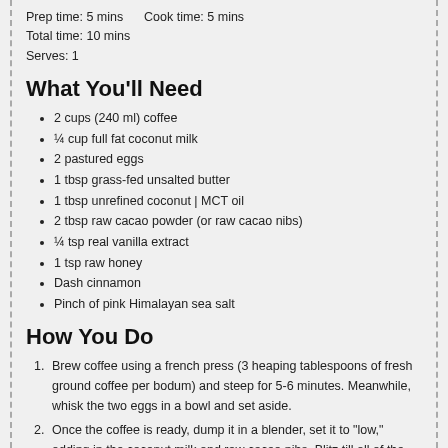Prep time: 5 mins    Cook time: 5 mins
Total time: 10 mins
Serves: 1
What You'll Need
2 cups (240 ml) coffee
¼ cup full fat coconut milk
2 pastured eggs
1 tbsp grass-fed unsalted butter
1 tbsp unrefined coconut | MCT oil
2 tbsp raw cacao powder (or raw cacao nibs)
¼ tsp real vanilla extract
1 tsp raw honey
Dash cinnamon
Pinch of pink Himalayan sea salt
How You Do
Brew coffee using a french press (3 heaping tablespoons of fresh ground coffee per bodum) and steep for 5-6 minutes. Meanwhile, whisk the two eggs in a bowl and set aside.
Once the coffee is ready, dump it in a blender, set it to "low," adding in the coconut milk and raw cacao nibs. Blitz till all of the nibs are smoothed out.
Then drizzle in the eggs and the rest of your ingredients and whizz agin till frothy! Pour out and enjoy this creamy decadence.